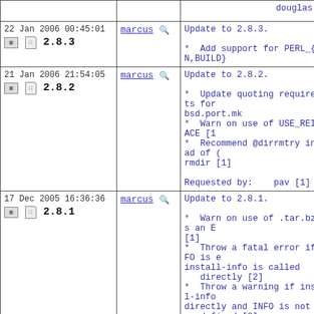| Date/Version | User | Message |
| --- | --- | --- |
| (partial top row) | douglas [0] | douglas [0] |
| 22 Jan 2006 00:45:01
2.8.3 | marcus | Update to 2.8.3.
* Add support for PERL_{RUN,BUILD}... |
| 21 Jan 2006 21:54:05
2.8.2 | marcus | Update to 2.8.2.
* Update quoting requirements for bsd.port.mk
* Warn on use of USE_REINPLACE [1]
* Recommend @dirrmtry instead of ... rmdir [1]

Requested by:    pav [1] |
| 17 Dec 2005 16:36:36
2.8.1 | marcus | Update to 2.8.1.
* Warn on use of .tar.bz2 as an E... [1]
* Throw a fatal error if INFO is ... install-info is called
  directly [2]
* Throw a warning if install-info...
directly and INFO is not
  defined [2]

PR:             89952 [2]
Requested by:   Kövesdan Gábor
<gabor.kovesdan@t-hosting.hu> [1] |